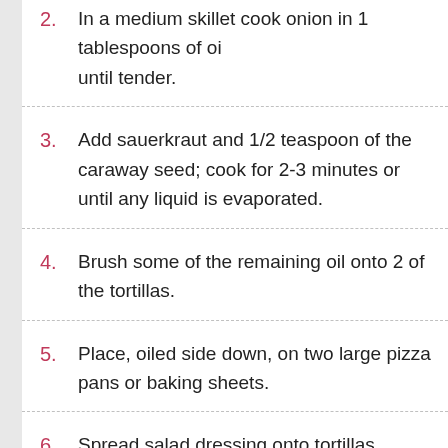2. In a medium skillet cook onion in 1 tablespoons of oil until tender.
3. Add sauerkraut and 1/2 teaspoon of the caraway seed; cook for 2-3 minutes or until any liquid is evaporated.
4. Brush some of the remaining oil onto 2 of the tortillas.
5. Place, oiled side down, on two large pizza pans or baking sheets.
6. Spread salad dressing onto tortillas.
7. Top with corned beef, onion mixture, and swiss